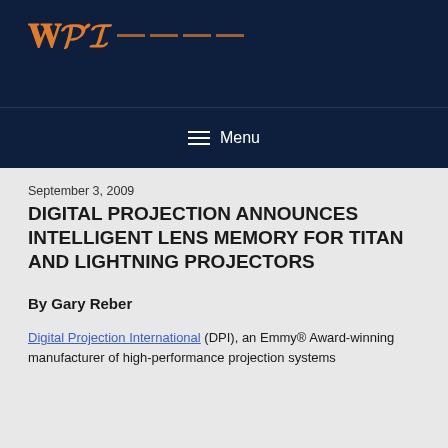WB1 [logo with navigation lines]
Menu
September 3, 2009
DIGITAL PROJECTION ANNOUNCES INTELLIGENT LENS MEMORY FOR TITAN AND LIGHTNING PROJECTORS
By Gary Reber
Digital Projection International (DPI), an Emmy® Award-winning manufacturer of high-performance projection systems